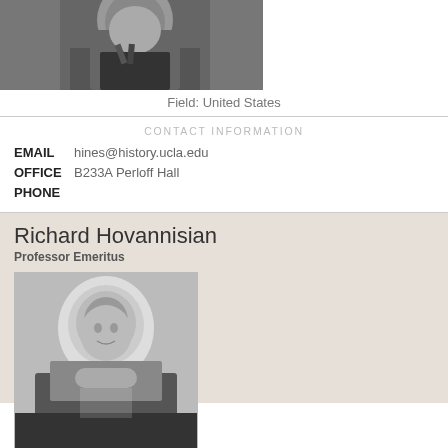[Figure (photo): Black and white photo of a person wearing a denim shirt and tie, cropped at upper body]
Field: United States
CONTACT INFORMATION
EMAIL   hines@history.ucla.edu
OFFICE  B233A Perloff Hall
PHONE
Richard Hovannisian
Professor Emeritus
[Figure (photo): Black and white professional portrait photo of Richard Hovannisian, an older bald man in a suit]